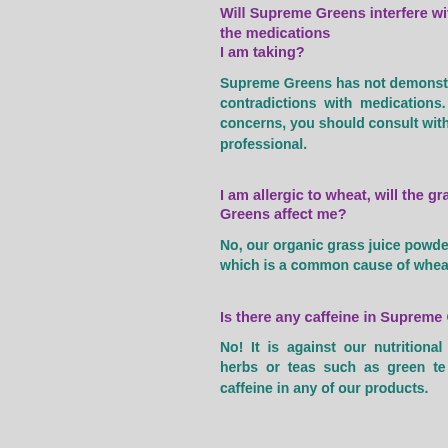Will Supreme Greens interfere with the medications I am taking?
Supreme Greens has not demonstrated any contradictions with medications. However, if you have concerns, you should consult with your healthcare professional.
I am allergic to wheat, will the grasses in Supreme Greens affect me?
No, our organic grass juice powders do not contain gluten, which is a common cause of wheat allergies.
Is there any caffeine in Supreme Greens?
No! It is against our nutritional philosophy to use herbs or teas such as green tea that contain caffeine in any of our products.